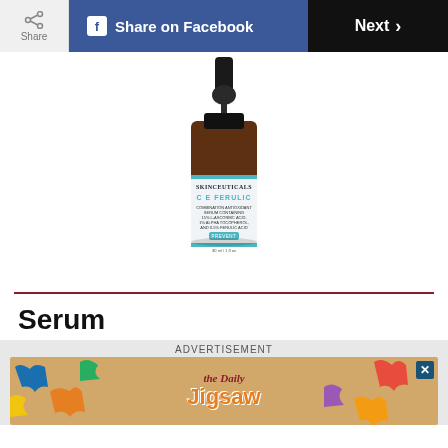Share | Share on Facebook | Next
[Figure (photo): SkinCeuticals C E Ferulic combination antioxidant serum in amber dropper bottle, 30ml/1fl oz]
Serum
ADVERTISEMENT
[Figure (screenshot): The Daily Jigsaw advertisement banner with puzzle pieces]